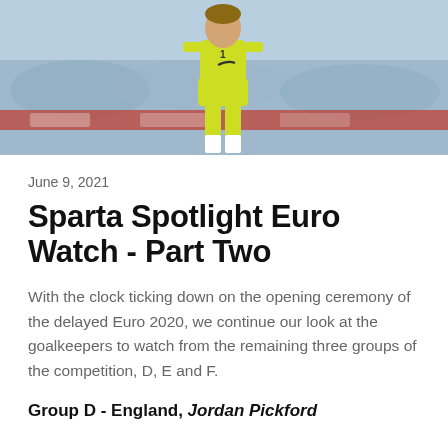[Figure (photo): A goalkeeper in a bright yellow/lime kit standing on a football pitch, partial view showing torso and legs, with a blurred crowd and advertising boards in the background.]
June 9, 2021
Sparta Spotlight Euro Watch - Part Two
With the clock ticking down on the opening ceremony of the delayed Euro 2020, we continue our look at the goalkeepers to watch from the remaining three groups of the competition, D, E and F.
Group D - England, Jordan Pickford